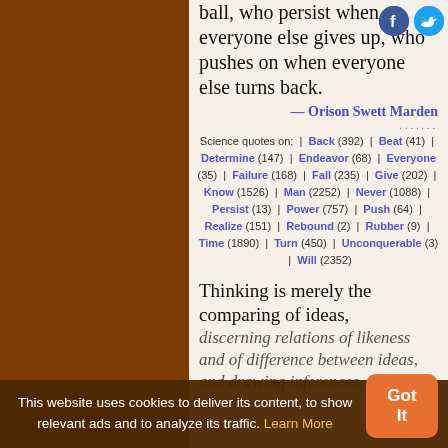ball, who persist when everyone else gives up, who pushes on when everyone else turns back.
— Orison Swett Marden
Science quotes on: | Back (392) | Beat (41) | Determine (147) | Endeavor (68) | Everyone (35) | Failure (168) | Fall (235) | Give (202) | Know (1526) | Man (2252) | Never (1088) | Persist (13) | Power (757) | Push (64) | Realize (151) | Rebound (2) | Rubber (9) | Time (1890) | Turn (450) | Unconquerable (3) | Will (2352)
Thinking is merely the comparing of ideas, discerning relations of likeness and of difference between ideas, and drawing inferences. It is...
This website uses cookies to deliver its content, to show relevant ads and to analyze its traffic. Learn More